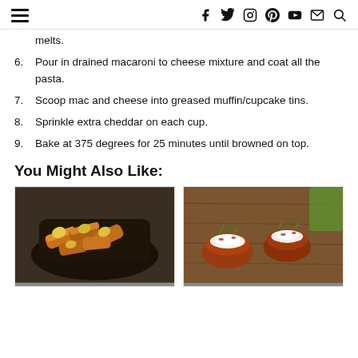Social icons: Facebook, Twitter, Instagram, Pinterest, YouTube, Email, Search
melts.
6. Pour in drained macaroni to cheese mixture and coat all the pasta.
7. Scoop mac and cheese into greased muffin/cupcake tins.
8. Sprinkle extra cheddar on each cup.
9. Bake at 375 degrees for 25 minutes until browned on top.
You Might Also Like:
[Figure (photo): Two food photos side by side: left shows bacon-wrapped items in a dark bowl, right shows stuffed mushrooms or potato skins with toppings on a wooden board.]